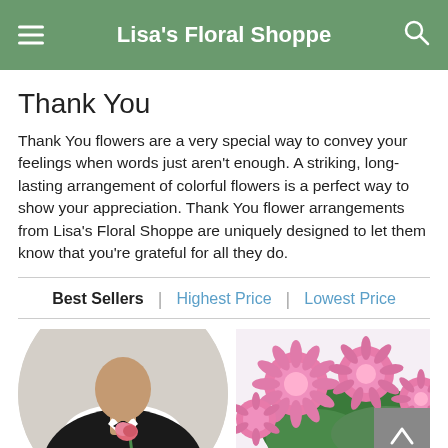Lisa's Floral Shoppe
Thank You
Thank You flowers are a very special way to convey your feelings when words just aren't enough. A striking, long-lasting arrangement of colorful flowers is a perfect way to show your appreciation. Thank You flower arrangements from Lisa's Floral Shoppe are uniquely designed to let them know that you're grateful for all they do.
Best Sellers | Highest Price | Lowest Price
[Figure (photo): Two product images: left shows a person in a black outfit holding a pink rose (circular crop), right shows a bouquet of pink chrysanthemums]